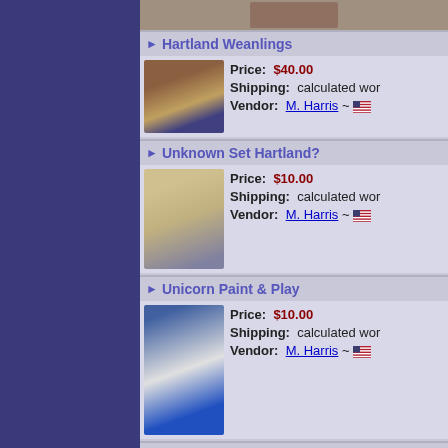[Figure (photo): Top partial product image]
Hartland Weanlings
[Figure (photo): Hartland Weanlings horse figurine photo]
Price: $40.00
Shipping: calculated wor
Vendor: M. Harris ~ 🇺🇸
Unknown Set Hartland?
[Figure (photo): Unknown Set Hartland dolls photo]
Price: $10.00
Shipping: calculated wor
Vendor: M. Harris ~ 🇺🇸
Unicorn Paint & Play
[Figure (photo): Unicorn Paint & Play figurine photo]
Price: $10.00
Shipping: calculated wor
Vendor: M. Harris ~ 🇺🇸
Unicorn Foal Surprise A
[Figure (photo): Unicorn Foal Surprise A figurine photo]
Price: $20.00
Shipping: calculated wor